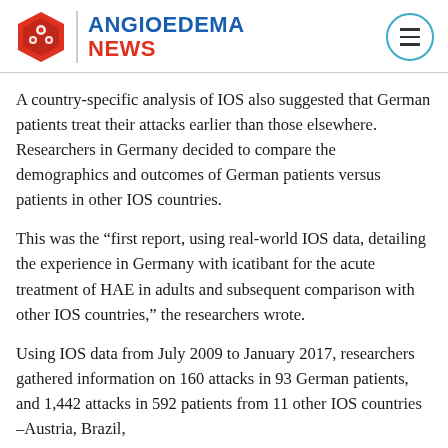ANGIOEDEMA NEWS
A country-specific analysis of IOS also suggested that German patients treat their attacks earlier than those elsewhere. Researchers in Germany decided to compare the demographics and outcomes of German patients versus patients in other IOS countries.
This was the “first report, using real-world IOS data, detailing the experience in Germany with icatibant for the acute treatment of HAE in adults and subsequent comparison with other IOS countries,” the researchers wrote.
Using IOS data from July 2009 to January 2017, researchers gathered information on 160 attacks in 93 German patients, and 1,442 attacks in 592 patients from 11 other IOS countries –Austria, Brazil,